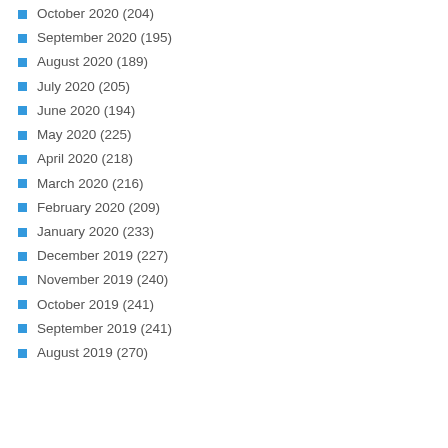October 2020 (204)
September 2020 (195)
August 2020 (189)
July 2020 (205)
June 2020 (194)
May 2020 (225)
April 2020 (218)
March 2020 (216)
February 2020 (209)
January 2020 (233)
December 2019 (227)
November 2019 (240)
October 2019 (241)
September 2019 (241)
August 2019 (270)